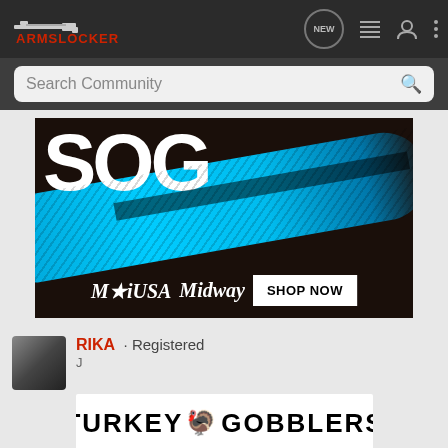ARMSLOCKER navigation bar with logo, NEW bubble, list icon, user icon, more icon
Search Community
[Figure (photo): SOG knife advertisement banner showing a blue folding knife with SOG logo text and MidwayUSA SHOP NOW button]
RIKA · Registered
J...
[Figure (photo): TURKEY GOBBLERS advertisement banner with turkey emoji]